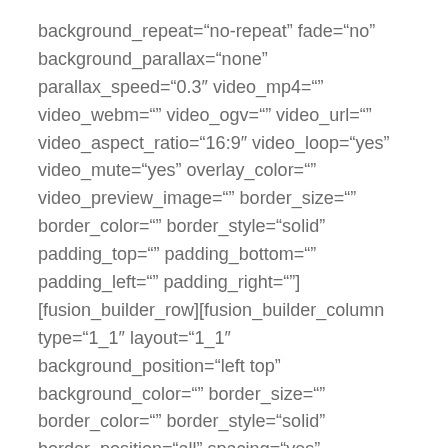background_repeat="no-repeat" fade="no" background_parallax="none" parallax_speed="0.3" video_mp4="" video_webm="" video_ogv="" video_url="" video_aspect_ratio="16:9" video_loop="yes" video_mute="yes" overlay_color="" video_preview_image="" border_size="" border_color="" border_style="solid" padding_top="" padding_bottom="" padding_left="" padding_right=""] [fusion_builder_row][fusion_builder_column type="1_1" layout="1_1" background_position="left top" background_color="" border_size="" border_color="" border_style="solid" border_position="all" spacing="yes" background_color=""